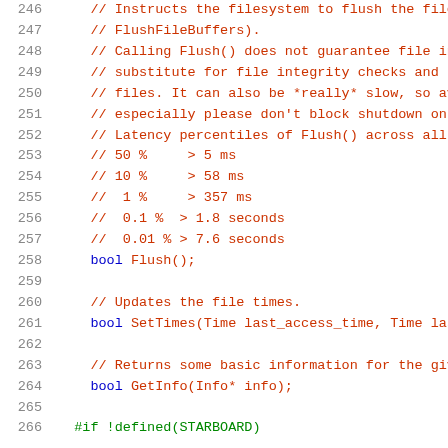[Figure (screenshot): Source code listing lines 246-266 showing C++ file interface comments and method declarations including Flush(), SetTimes(), GetInfo(), and a preprocessor directive #if !defined(STARBOARD)]